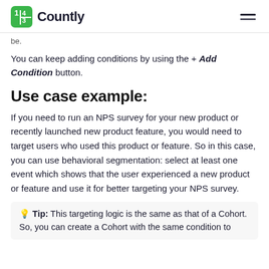Countly
be.
You can keep adding conditions by using the + Add Condition button.
Use case example:
If you need to run an NPS survey for your new product or recently launched new product feature, you would need to target users who used this product or feature. So in this case, you can use behavioral segmentation: select at least one event which shows that the user experienced a new product or feature and use it for better targeting your NPS survey.
💡 Tip: This targeting logic is the same as that of a Cohort. So, you can create a Cohort with the same condition to